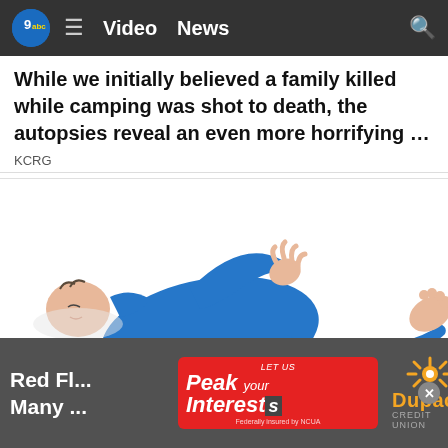Video   News
While we initially believed a family killed while camping was shot to death, the autopsies reveal an even more horrifying …
KCRG
[Figure (illustration): Cartoon illustration of a person lying on their back in blue clothing, appearing unconscious or dead, with one arm raised and legs spread, on a white background.]
Red Fl... (s)
Many ... (s)
[Figure (other): Red banner advertisement: LET US Peak YOUR Interest[S] – Federally insured by NCUA]
[Figure (logo): Dupaco Credit Union logo with orange sunburst and orange text]